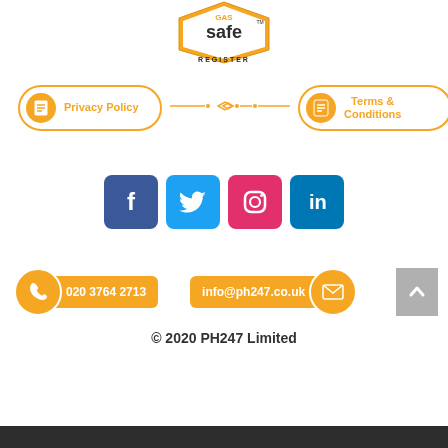[Figure (logo): Gas Safe Register logo — yellow badge with 'safe' text and 'REGISTER' below]
[Figure (infographic): Privacy Policy pill button with orange border and icon on left, decorative divider line in center, Terms & Conditions pill button with orange border and icon on right]
[Figure (infographic): Row of four social media icons: Facebook (dark blue), Twitter (light blue), Instagram (pink/red), LinkedIn (medium blue)]
[Figure (infographic): Contact bar with phone number 020 3764 2713 in orange pill on left, email info@ph247.co.uk in orange pill on right, grey scroll-to-top button]
© 2020 PH247 Limited